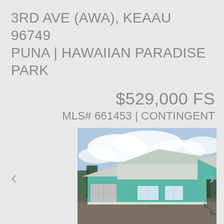3RD AVE (AWA), KEAAU 96749 PUNA | HAWAIIAN PARADISE PARK
$529,000 FS
MLS# 661453 | CONTINGENT
[Figure (photo): Exterior photo of a teal/blue single-story ranch-style house with metal roof, attached garage, and gravel/dirt driveway under a partly cloudy sky with trees in background.]